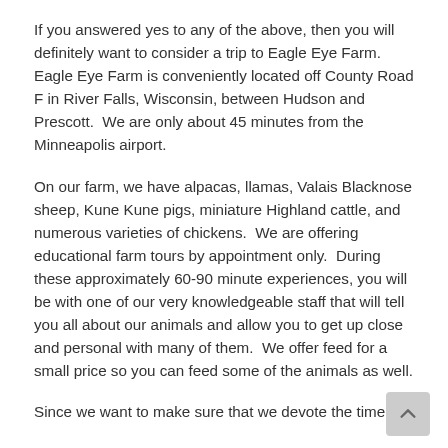If you answered yes to any of the above, then you will definitely want to consider a trip to Eagle Eye Farm.  Eagle Eye Farm is conveniently located off County Road F in River Falls, Wisconsin, between Hudson and Prescott.  We are only about 45 minutes from the Minneapolis airport.
On our farm, we have alpacas, llamas, Valais Blacknose sheep, Kune Kune pigs, miniature Highland cattle, and numerous varieties of chickens.  We are offering educational farm tours by appointment only.  During these approximately 60-90 minute experiences, you will be with one of our very knowledgeable staff that will tell you all about our animals and allow you to get up close and personal with many of them.  We offer feed for a small price so you can feed some of the animals as well.
Since we want to make sure that we devote the time